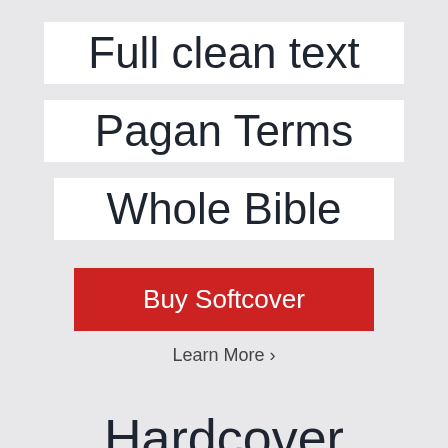Full clean text
Pagan Terms
Whole Bible
Buy Softcover
Learn More ›
Hardcover